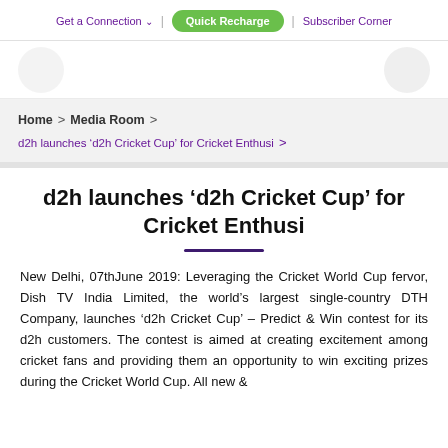Get a Connection | Quick Recharge | Subscriber Corner
Home > Media Room > d2h launches ‘d2h Cricket Cup’ for Cricket Enthusi >
d2h launches ‘d2h Cricket Cup’ for Cricket Enthusi
New Delhi, 07thJune 2019: Leveraging the Cricket World Cup fervor, Dish TV India Limited, the world’s largest single-country DTH Company, launches ‘d2h Cricket Cup’ – Predict & Win contest for its d2h customers. The contest is aimed at creating excitement among cricket fans and providing them an opportunity to win exciting prizes during the Cricket World Cup. All new &